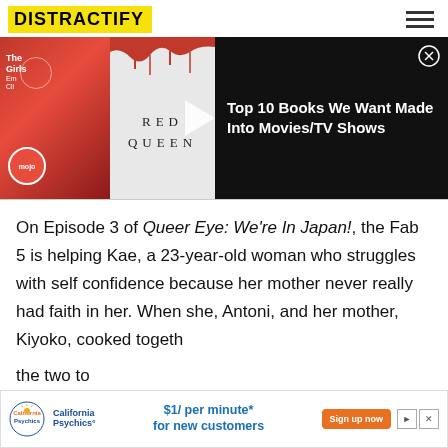DISTRACTIFY
[Figure (screenshot): Ad banner showing Top 10 Books We Want Made Into Movies/TV Shows, with book covers for The Girls and Red Queen on dark background]
On Episode 3 of Queer Eye: We're In Japan!, the Fab 5 is helping Kae, a 23-year-old woman who struggles with self confidence because her mother never really had faith in her. When she, Antoni, and her mother, Kiyoko, cooked togeth... the two to...
[Figure (screenshot): California Psychics advertisement: $1/ per minute* for new customers, Sign up now button]